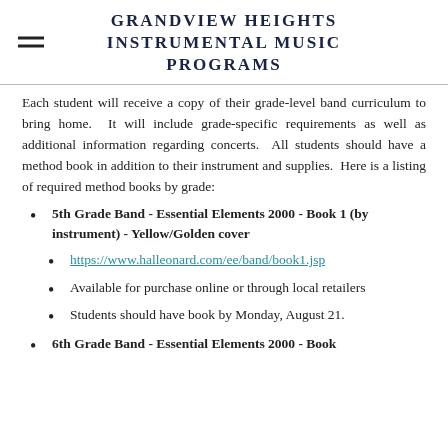GRANDVIEW HEIGHTS INSTRUMENTAL MUSIC PROGRAMS
Each student will receive a copy of their grade-level band curriculum to bring home. It will include grade-specific requirements as well as additional information regarding concerts. All students should have a method book in addition to their instrument and supplies. Here is a listing of required method books by grade:
5th Grade Band - Essential Elements 2000 - Book 1 (by instrument) - Yellow/Golden cover
https://www.halleonard.com/ee/band/book1.jsp
Available for purchase online or through local retailers
Students should have book by Monday, August 21.
6th Grade Band - Essential Elements 2000 - Book